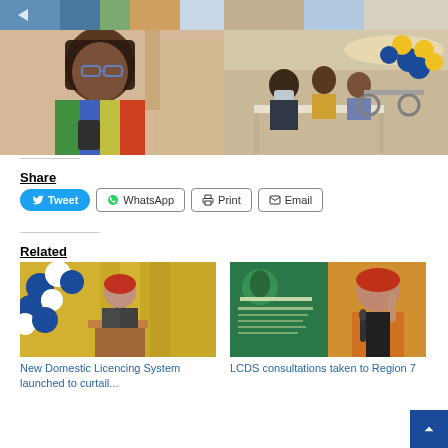[Figure (photo): Top strip of photos showing colorful fabric/clothing and event scene with balloons]
[Figure (photo): Left: Woman with glasses and colorful shirt holding a device. Right: Man in suit with mask at outdoor event with blue and yellow balloons.]
Share
Tweet | WhatsApp | Print | Email
Related
[Figure (photo): Woman at podium with blue and white balloons in background - related article image]
New Domestic Licencing System launched to curtail...
[Figure (photo): Woman speaking at event with green Low Carbon Development Strategy banner - related article image]
LCDS consultations taken to Region 7